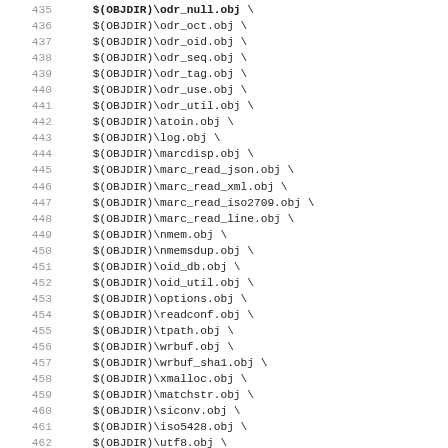435 $(OBJDIR)\odr_null.obj \
436 $(OBJDIR)\odr_oct.obj \
437 $(OBJDIR)\odr_oid.obj \
438 $(OBJDIR)\odr_seq.obj \
439 $(OBJDIR)\odr_tag.obj \
440 $(OBJDIR)\odr_use.obj \
441 $(OBJDIR)\odr_util.obj \
442 $(OBJDIR)\atoin.obj \
443 $(OBJDIR)\log.obj \
444 $(OBJDIR)\marcdisp.obj \
445 $(OBJDIR)\marc_read_json.obj \
446 $(OBJDIR)\marc_read_xml.obj \
447 $(OBJDIR)\marc_read_iso2709.obj \
448 $(OBJDIR)\marc_read_line.obj \
449 $(OBJDIR)\nmem.obj \
450 $(OBJDIR)\nmemsdup.obj \
451 $(OBJDIR)\oid_db.obj \
452 $(OBJDIR)\oid_util.obj \
453 $(OBJDIR)\options.obj \
454 $(OBJDIR)\readconf.obj \
455 $(OBJDIR)\tpath.obj \
456 $(OBJDIR)\wrbuf.obj \
457 $(OBJDIR)\wrbuf_sha1.obj \
458 $(OBJDIR)\xmalloc.obj \
459 $(OBJDIR)\matchstr.obj \
460 $(OBJDIR)\siconv.obj \
461 $(OBJDIR)\iso5428.obj \
462 $(OBJDIR)\utf8.obj \
463 $(OBJDIR)\ucs4.obj \
464 $(OBJDIR)\advancegreek.obj \
465 $(OBJDIR)\snprintf.obj \
466 $(OBJDIR)\marc8.obj \
467 $(OBJDIR)\marc8r.obj \